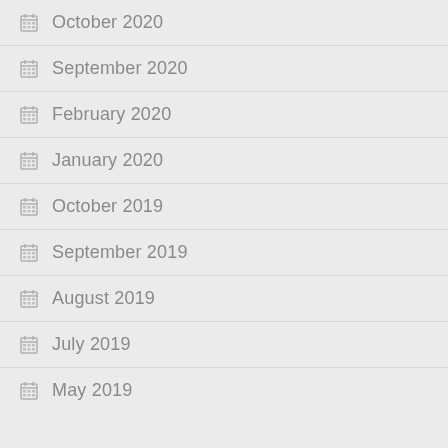October 2020
September 2020
February 2020
January 2020
October 2019
September 2019
August 2019
July 2019
May 2019